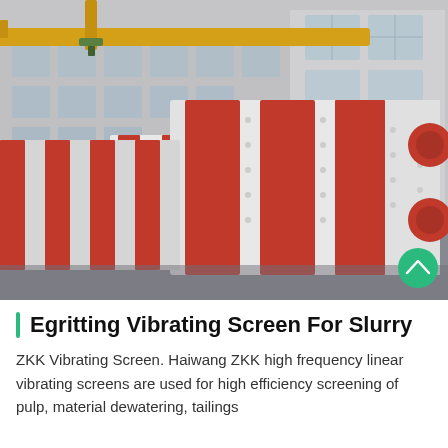[Figure (photo): Industrial factory floor showing multiple large white and red vibrating screen machines lined up, with a yellow overhead crane visible near the top of the image. The background shows a large grey industrial building with windows.]
Egritting Vibrating Screen For Slurry
ZKK Vibrating Screen. Haiwang ZKK high frequency linear vibrating screens are used for high efficiency screening of pulp, material dewatering, tailings